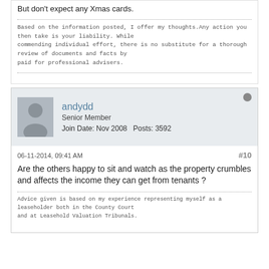But don't expect any Xmas cards.
Based on the information posted, I offer my thoughts.Any action you then take is your liability. While commending individual effort, there is no substitute for a thorough review of documents and facts by paid for professional advisers.
andydd
Senior Member
Join Date: Nov 2008   Posts: 3592
06-11-2014, 09:41 AM
#10
Are the others happy to sit and watch as the property crumbles and affects the income they can get from tenants ?
Advice given is based on my experience representing myself as a leaseholder both in the County Court and at Leasehold Valuation Tribunals.